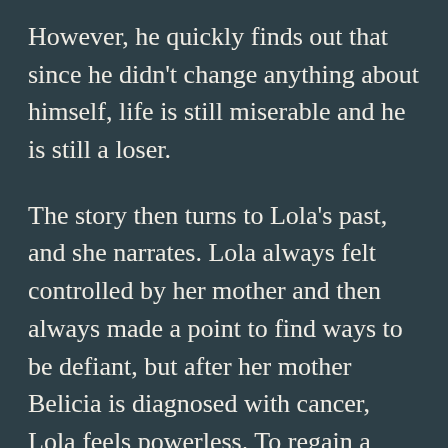However, he quickly finds out that since he didn't change anything about himself, life is still miserable and he is still a loser.
The story then turns to Lola's past, and she narrates. Lola always felt controlled by her mother and then always made a point to find ways to be defiant, but after her mother Belicia is diagnosed with cancer, Lola feels powerless. To regain a feeling of power, she cuts off her hair and she runs away to be with her boyfriend Aldo, and she loses her virginity to him. She finds that living with Aldo and his father is not any better than her previous situation, and when she calls Oscar to meet with him, he brings the entire family. She is caught, and she is forced to go to Santo